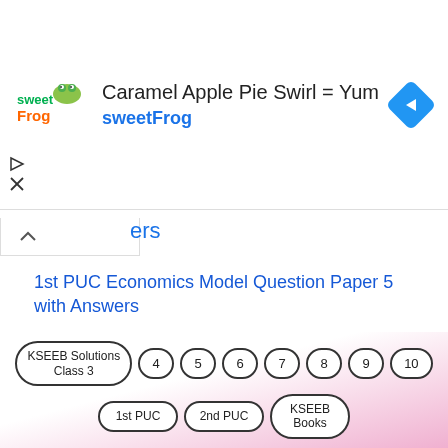[Figure (screenshot): SweetFrog advertisement banner with logo, title 'Caramel Apple Pie Swirl = Yum', subtitle 'sweetFrog', and a blue navigation icon]
ers
1st PUC Economics Model Question Paper 5 with Answers
1st PUC Business Studies Previous Year Question Paper March 2018 (North)
1st PUC Business Studies Previous Year Question Paper March 2018 (South)
KSEEB Solutions Class 3 | 4 | 5 | 6 | 7 | 8 | 9 | 10 | 1st PUC | 2nd PUC | KSEEB Books